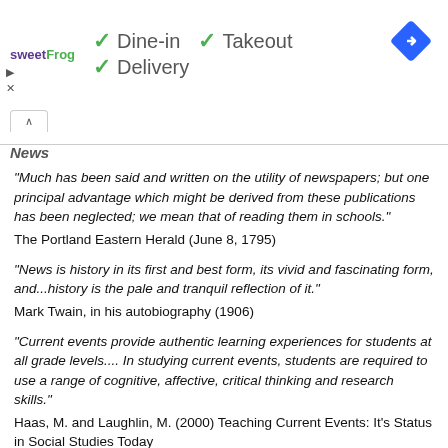[Figure (screenshot): SweetFrog advertisement banner with checkmarks for Dine-in, Takeout, and Delivery options, and a navigation diamond icon]
News
"Much has been said and written on the utility of newspapers; but one principal advantage which might be derived from these publications has been neglected; we mean that of reading them in schools."
The Portland Eastern Herald (June 8, 1795)
"News is history in its first and best form, its vivid and fascinating form, and...history is the pale and tranquil reflection of it."
Mark Twain, in his autobiography (1906)
"Current events provide authentic learning experiences for students at all grade levels.... In studying current events, students are required to use a range of cognitive, affective, critical thinking and research skills."
Haas, M. and Laughlin, M. (2000) Teaching Current Events: It's Status in Social Studies Today